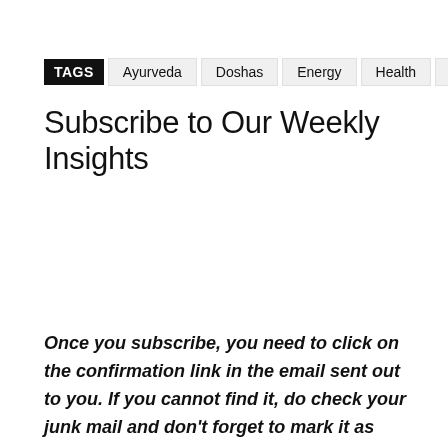TAGS  Ayurveda  Doshas  Energy  Health  Nature
Subscribe to Our Weekly Insights
Once you subscribe, you need to click on the confirmation link in the email sent out to you. If you cannot find it, do check your junk mail and don't forget to mark it as safe. If you have already